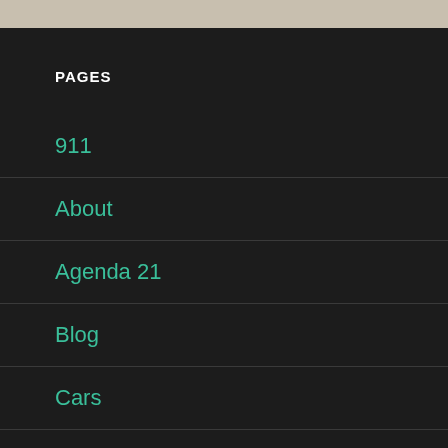PAGES
911
About
Agenda 21
Blog
Cars
Catholic